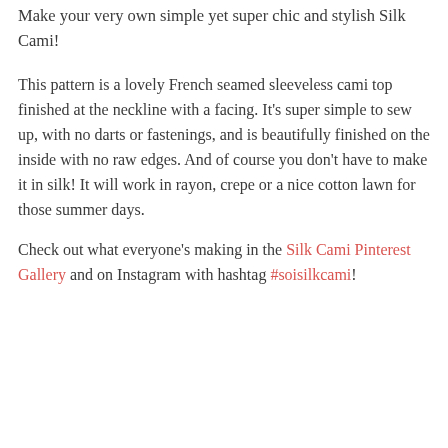Make your very own simple yet super chic and stylish Silk Cami!
This pattern is a lovely French seamed sleeveless cami top finished at the neckline with a facing. It's super simple to sew up, with no darts or fastenings, and is beautifully finished on the inside with no raw edges. And of course you don't have to make it in silk! It will work in rayon, crepe or a nice cotton lawn for those summer days.
Check out what everyone's making in the Silk Cami Pinterest Gallery and on Instagram with hashtag #soisilkcami!